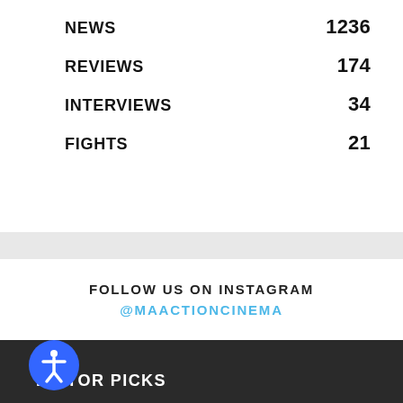NEWS  1236
REVIEWS  174
INTERVIEWS  34
FIGHTS  21
FOLLOW US ON INSTAGRAM
@MAACTIONCINEMA
EDITOR PICKS